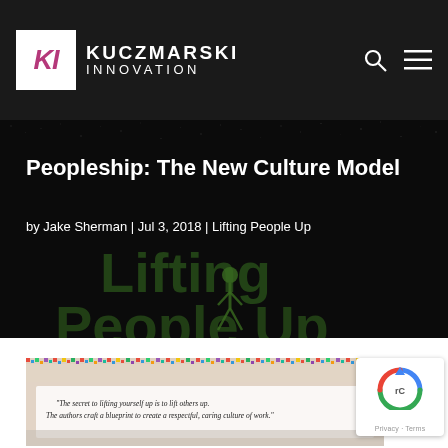KUCZMARSKI INNOVATION
Peopleship: The New Culture Model
by Jake Sherman | Jul 3, 2018 | Lifting People Up
[Figure (photo): Dark noisy background hero image with text 'Lifting People Up' partially visible]
[Figure (photo): Book cover image with quote: 'The secret to lifting yourself up is to lift others up. The authors craft a blueprint to create a respectful, caring culture of work.']